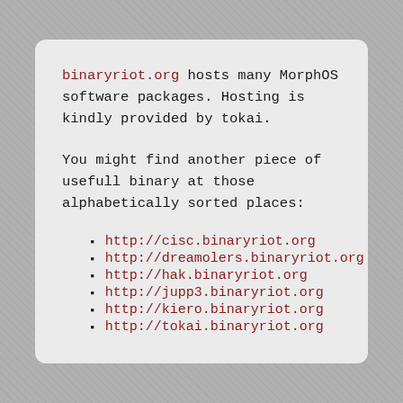binaryriot.org hosts many MorphOS software packages. Hosting is kindly provided by tokai.
You might find another piece of usefull binary at those alphabetically sorted places:
http://cisc.binaryriot.org
http://dreamolers.binaryriot.org
http://hak.binaryriot.org
http://jupp3.binaryriot.org
http://kiero.binaryriot.org
http://tokai.binaryriot.org